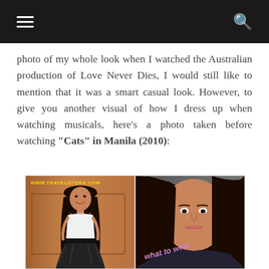≡  🔍
photo of my whole look when I watched the Australian production of Love Never Dies, I would still like to mention that it was a smart casual look. However, to give you another visual of how I dress up when watching musicals, here's a photo taken before watching "Cats" in Manila (2010):
[Figure (photo): Two-panel photo collage. Left panel shows a young woman in a white top and black tutu skirt standing in front of a wooden door, smiling. Right panel shows a close-up of the same woman's face with long dark wavy hair. Watermark reads 'www.traveliztera.com' in yellow. Pink italic text 'what to wear' overlaid on the right panel.]